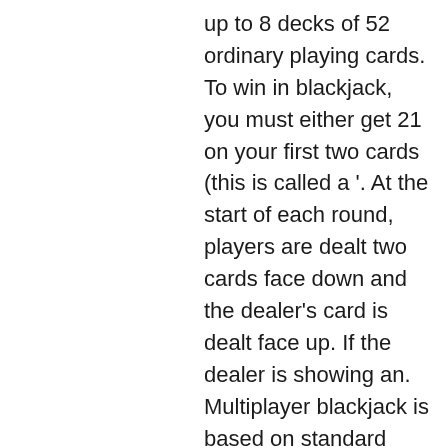up to 8 decks of 52 ordinary playing cards. To win in blackjack, you must either get 21 on your first two cards (this is called a '. At the start of each round, players are dealt two cards face down and the dealer's card is dealt face up. If the dealer is showing an. Multiplayer blackjack is based on standard blackjack and there only few variations of the rules when compared to it. The game is played with eight decks of. The advantage of multiplayer blackjack online. No wonder this game can appeal the players to enjoy and also get more experience in poker88. Super blackjack battle ii turbo edition introduces a roster of 12 very different characters all competing to become the greatest blackjack player of all
Folks from those parts find them highly entertaining and fun. Thanks to their enthusiasm they get to enjoy almost every online slot out there, game of thrones casino